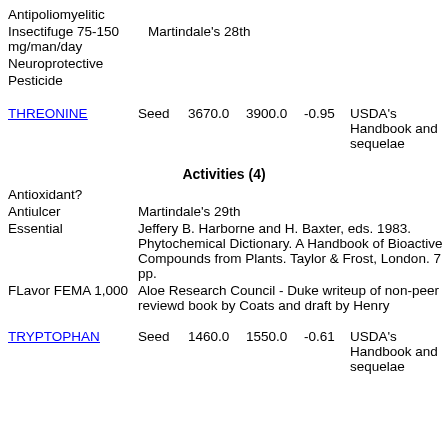Antipoliomyelitic
Insectifuge 75-150 mg/man/day
Neuroprotective
Pesticide
| Name | Part | Low | High | Std | Reference |
| --- | --- | --- | --- | --- | --- |
| THREONINE | Seed | 3670.0 | 3900.0 | -0.95 | USDA's Handbook and sequelae |
Activities (4)
Antioxidant?
Antiulcer	Martinadale's 29th
Essential	Jeffery B. Harborne and H. Baxter, eds. 1983. Phytochemical Dictionary. A Handbook of Bioactive Compounds from Plants. Taylor & Frost, London. 7 pp.
FLavor FEMA 1,000	Aloe Research Council - Duke writeup of non-peer reviewd book by Coats and draft by Henry
| Name | Part | Low | High | Std | Reference |
| --- | --- | --- | --- | --- | --- |
| TRYPTOPHAN | Seed | 1460.0 | 1550.0 | -0.61 | USDA's Handbook and sequelae |